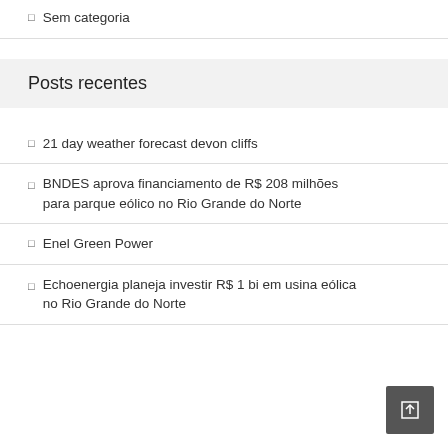Sem categoria
Posts recentes
21 day weather forecast devon cliffs
BNDES aprova financiamento de R$ 208 milhões para parque eólico no Rio Grande do Norte
Enel Green Power
Echoenergia planeja investir R$ 1 bi em usina eólica no Rio Grande do Norte